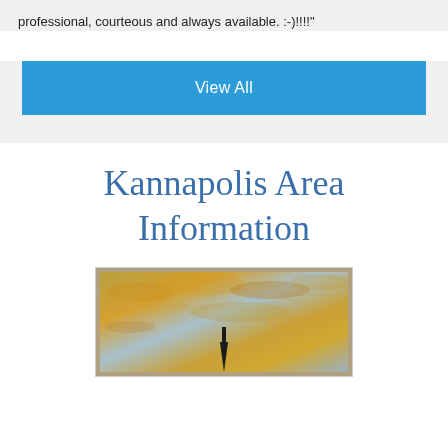professional, courteous and always available. :-)!!!!"
View All
Kannapolis Area Information
[Figure (photo): Outdoor photograph showing a dramatic sky with golden and orange clouds, with the tip of a dark spire or tower visible at the bottom center of the image.]